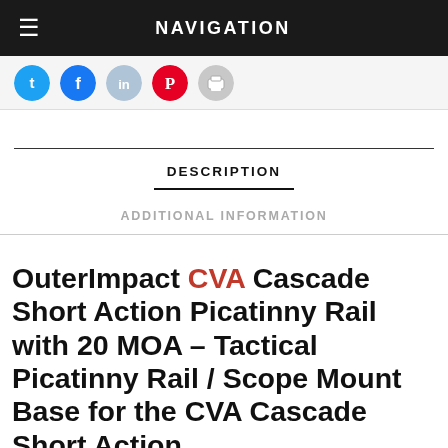NAVIGATION
[Figure (other): Social sharing icons row: Twitter (blue), Facebook (blue), LinkedIn (light blue), Pinterest (red), Print (grey)]
DESCRIPTION
ADDITIONAL INFORMATION
OuterImpact CVA Cascade Short Action Picatinny Rail with 20 MOA – Tactical Picatinny Rail / Scope Mount Base for the CVA Cascade Short Action